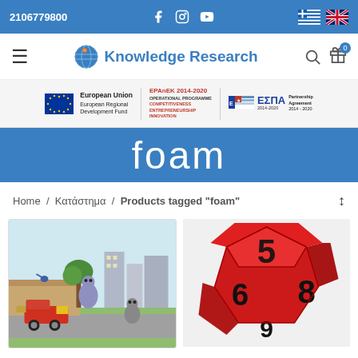2106779800 | Knowledge Research | Social links | Greek/English flags
[Figure (logo): Knowledge Research website logo with globe icon]
[Figure (infographic): EU funding banner: European Union European Regional Development Fund, EPAnEK 2014-2020 Operational Programme Competitiveness Entrepreneurship Innovation, ESPA 2014-2020 Partnership Agreement]
foam
Home / Κατάστημα / Products tagged "foam"
[Figure (photo): Colorful illustrated children's scene with animals and buildings]
[Figure (photo): Red foam dodecahedron die with numbers 5, 6, 8, 9 visible]